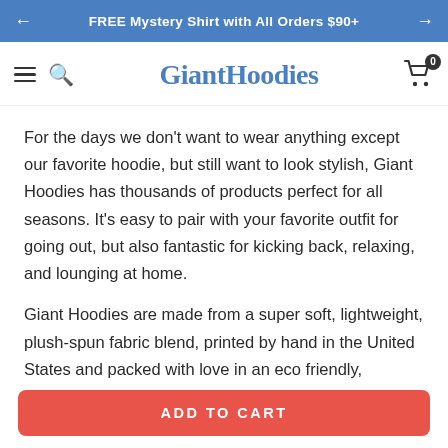FREE Mystery Shirt with All Orders $90+
[Figure (logo): GiantHoodies logo in blue handwritten/brush font style, with hamburger menu and search icon on left, cart icon with badge '0' on right]
For the days we don't want to wear anything except our favorite hoodie, but still want to look stylish, Giant Hoodies has thousands of products perfect for all seasons. It's easy to pair with your favorite outfit for going out, but also fantastic for kicking back, relaxing, and lounging at home.
Giant Hoodies are made from a super soft, lightweight, plush-spun fabric blend, printed by hand in the United States and packed with love in an eco friendly, sustainable, recyclable cardboard box, with a free sticker and hand-written thank you
ADD TO CART